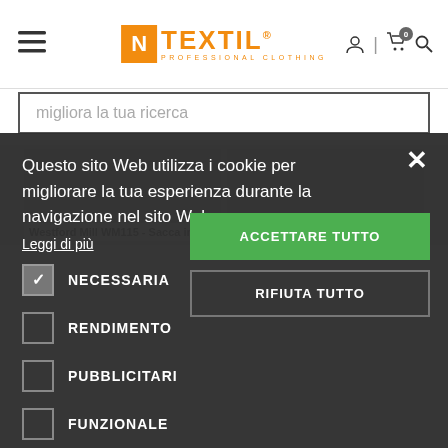[Figure (logo): N Textil Professional Clothing logo with orange N in box and orange text]
migliora la tua ricerca
Westford Mill WM115 - Sacca in
Westford mill WM540 - Borsa
Questo sito Web utilizza i cookie per migliorare la tua esperienza durante la navigazione nel sito Web.
Leggi di più
ACCETTARE TUTTO
RIFIUTA TUTTO
NECESSARIA
RENDIMENTO
PUBBLICITARI
FUNZIONALE